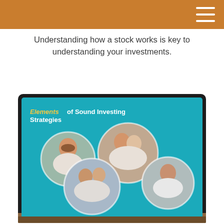Understanding how a stock works is key to understanding your investments.
[Figure (photo): A tablet device displaying a presentation titled 'Elements of Sound Investing Strategies' with circular portrait photos of diverse people on a teal background, photographed on a wooden surface.]